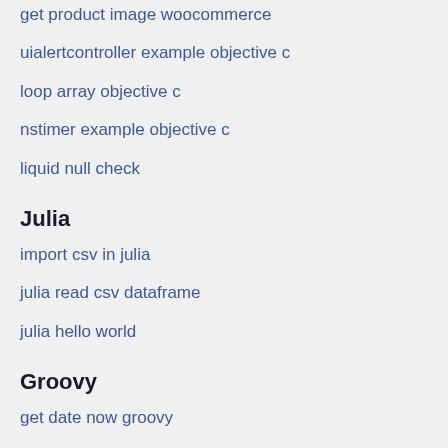get product image woocommerce
uialertcontroller example objective c
loop array objective c
nstimer example objective c
liquid null check
Julia
import csv in julia
julia read csv dataframe
julia hello world
Groovy
get date now groovy
Pascal
store input in variable in pascal